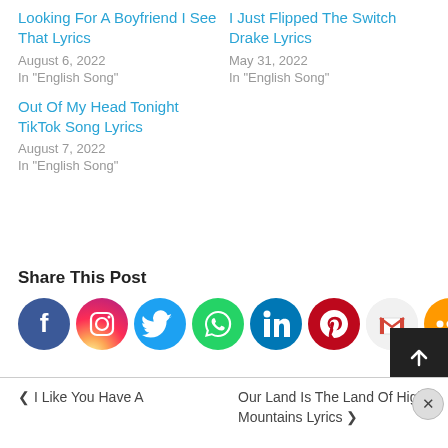Looking For A Boyfriend I See That Lyrics
August 6, 2022
In "English Song"
I Just Flipped The Switch Drake Lyrics
May 31, 2022
In "English Song"
Out Of My Head Tonight TikTok Song Lyrics
August 7, 2022
In "English Song"
Share This Post
[Figure (infographic): Row of social media share icons: Facebook, Instagram, Twitter, WhatsApp, LinkedIn, Pinterest, Gmail, More]
< I Like You Have A
Our Land Is The Land Of High Mountains Lyrics >